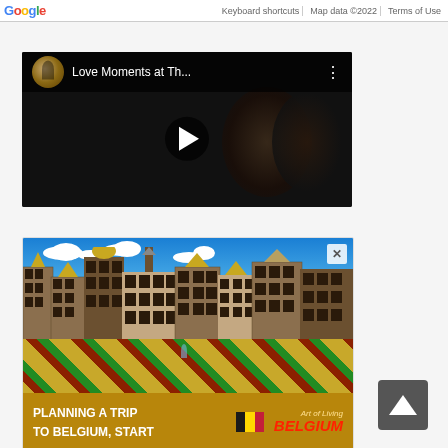[Figure (screenshot): Google Maps bar at the top with Google logo, Keyboard shortcuts, Map data ©2022, Terms of Use]
[Figure (screenshot): YouTube video thumbnail titled 'Love Moments at Th...' showing a dark romantic scene with a play button]
[Figure (photo): Advertisement for Belgium tourism showing Grand Place Brussels with ornate buildings, flower carpet in foreground, and text 'PLANNING A TRIP TO BELGIUM START' with Art of Living Belgium branding]